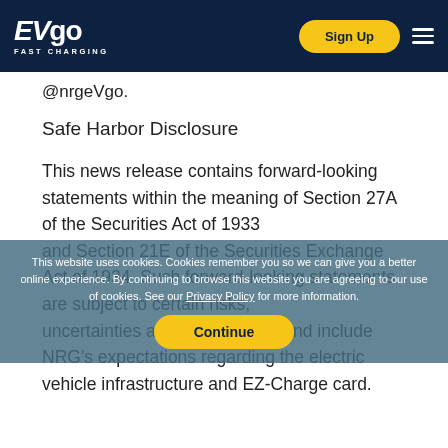EVgo FAST CHARGING — Sign Up
@nrgeVgo.
Safe Harbor Disclosure
This news release contains forward-looking statements within the meaning of Section 27A of the Securities Act of 1933 and Section 21E of the Securities Exchange Act of 1934. Such forward-looking statements are subject to certain risks, uncertainties and assumptions and include NRG's expectations regarding the electric vehicle infrastructure and EZ-Charge card.
This website uses cookies. Cookies remember you so we can give you a better online experience. By continuing to browse this website you are agreeing to our use of cookies. See our Privacy Policy for more information.